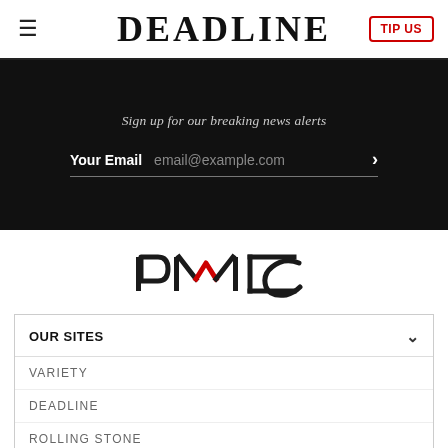DEADLINE
Sign up for our breaking news alerts
Your Email   email@example.com
[Figure (logo): PMC logo with stylized P, M (with red chevron accent), and C letters]
OUR SITES
VARIETY
DEADLINE
ROLLING STONE
WWD
HOLLYWOODLIFE